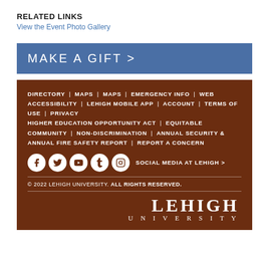RELATED LINKS
View the Event Photo Gallery
MAKE A GIFT >
DIRECTORY | MAPS | MAPS | EMERGENCY INFO | WEB ACCESSIBILITY | LEHIGH MOBILE APP | ACCOUNT | TERMS OF USE | PRIVACY HIGHER EDUCATION OPPORTUNITY ACT | EQUITABLE COMMUNITY | NON-DISCRIMINATION | ANNUAL SECURITY & ANNUAL FIRE SAFETY REPORT | REPORT A CONCERN
SOCIAL MEDIA AT LEHIGH >
© 2022 LEHIGH UNIVERSITY. ALL RIGHTS RESERVED.
[Figure (logo): Lehigh University logo text in white serif font on brown background]